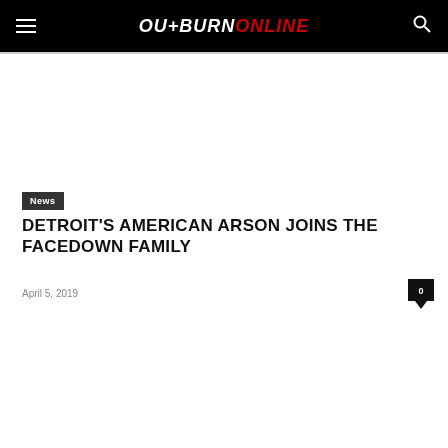OUTBURN ONLINE
News
DETROIT'S AMERICAN ARSON JOINS THE FACEDOWN FAMILY
April 5, 2019
0